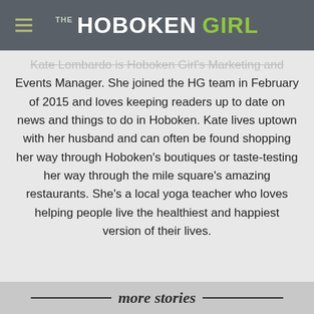THE HOBOKEN GIRL
Kate Lombardo is Hoboken Girl's Marketing and Events Manager. She joined the HG team in February of 2015 and loves keeping readers up to date on news and things to do in Hoboken. Kate lives uptown with her husband and can often be found shopping her way through Hoboken's boutiques or taste-testing her way through the mile square's amazing restaurants. She's a local yoga teacher who loves helping people live the healthiest and happiest version of their lives.
more stories